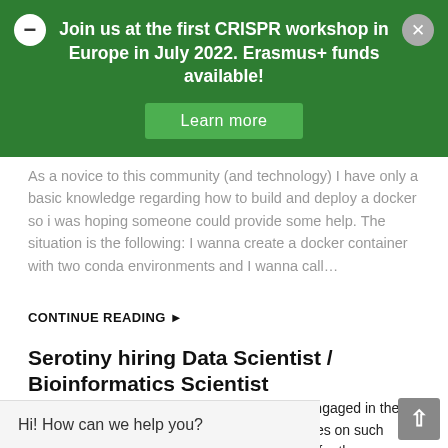Join us at the first CRISPR workshop in Europe in July 2022. Erasmus+ funds available!
Learn more
As a novice to this community (and technology) I have only a basic knowledge regarding how to build and deploy a docker so i was hoping someone could provide some help. The situation is the following: I wanna create a docker container with two conda environments and I wanna call…
CONTINUE READING ▶
Serotiny hiring Data Scientist / Bioinformatics Scientist
About Serotiny Serotiny is a company that is engaged in the discovery of proteins for cell therapies. It focuses on such proteins as CARs (chimeric antigen receptors) for the treatment of cancers and genetic disorders. Job Description Description Serotiny invents multi-domain proteins for cancer cell therapies, including gene editors…
Hi! How can we help you?